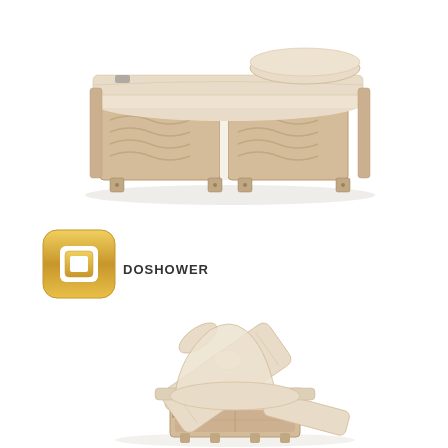[Figure (photo): Top-down angled view of a luxury spa massage table/bed with beige/cream upholstery and light wood paneled base with wave-carved decorative details, featuring a bolster pillow at the head end.]
[Figure (logo): DOSHOWER brand logo: a gold/yellow rounded square icon with a square cutout in the center, with the text DOSHOWER below/beside it in dark lettering.]
[Figure (photo): Perspective view of a luxury electric spa/massage chair-bed in reclined position with cream/beige upholstery, adjustable backrest raised, headrest, armrests, and a wooden base with storage drawer visible.]